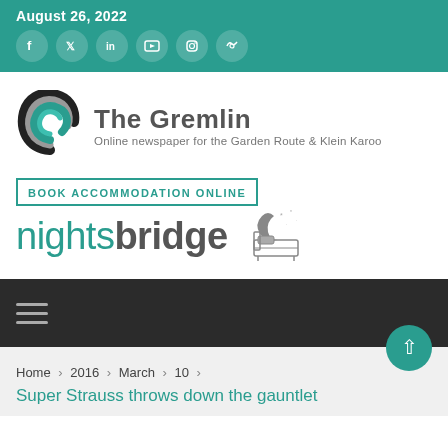August 26, 2022
[Figure (logo): The Gremlin - Online newspaper for the Garden Route & Klein Karoo logo with swirl graphic]
[Figure (logo): Nightsbridge - Book Accommodation Online advertisement logo]
Home › 2016 › March › 10 ›
Super Strauss throws down the gauntlet